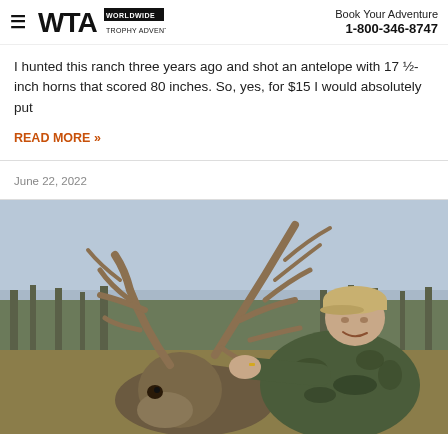WTA WORLDWIDE TROPHY ADVENTURES | Book Your Adventure 1-800-346-8747
I hunted this ranch three years ago and shot an antelope with 17 ½-inch horns that scored 80 inches. So, yes, for $15 I would absolutely put
READ MORE »
June 22, 2022
[Figure (photo): A hunter in camouflage jacket and tan cap posing with a large whitetail buck with impressive antlers, outdoors in a field with bare trees in the background.]